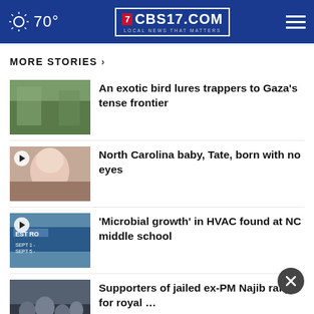70° CBS17.COM LOCAL NEWS THAT MATTERS
MORE STORIES ›
An exotic bird lures trappers to Gaza's tense frontier
North Carolina baby, Tate, born with no eyes
'Microbial growth' in HVAC found at NC middle school
Supporters of jailed ex-PM Najib rally for royal …
ke